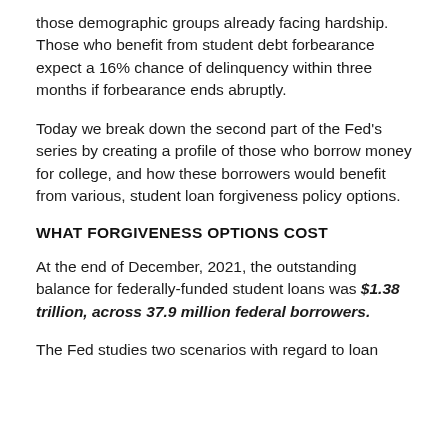those demographic groups already facing hardship. Those who benefit from student debt forbearance expect a 16% chance of delinquency within three months if forbearance ends abruptly.
Today we break down the second part of the Fed's series by creating a profile of those who borrow money for college, and how these borrowers would benefit from various, student loan forgiveness policy options.
WHAT FORGIVENESS OPTIONS COST
At the end of December, 2021, the outstanding balance for federally-funded student loans was $1.38 trillion, across 37.9 million federal borrowers.
The Fed studies two scenarios with regard to loan